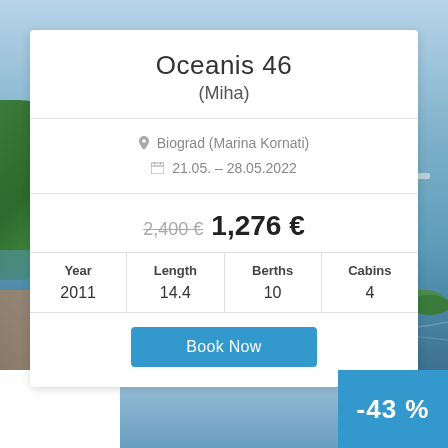[Figure (photo): Scenic coastal photo with blue sea water, green island vegetation on left, rocky shoreline, and blue sky – background of boat rental card]
Oceanis 46
(Miha)
Biograd (Marina Kornati)
21.05. - 28.05.2022
2,400 € 1,276 €
| Year | Length | Berths | Cabins |
| --- | --- | --- | --- |
| 2011 | 14.4 | 10 | 4 |
Book Now
-43 %